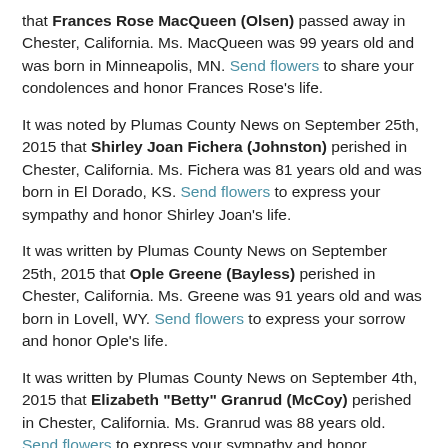that Frances Rose MacQueen (Olsen) passed away in Chester, California. Ms. MacQueen was 99 years old and was born in Minneapolis, MN. Send flowers to share your condolences and honor Frances Rose's life.
It was noted by Plumas County News on September 25th, 2015 that Shirley Joan Fichera (Johnston) perished in Chester, California. Ms. Fichera was 81 years old and was born in El Dorado, KS. Send flowers to express your sympathy and honor Shirley Joan's life.
It was written by Plumas County News on September 25th, 2015 that Ople Greene (Bayless) perished in Chester, California. Ms. Greene was 91 years old and was born in Lovell, WY. Send flowers to express your sorrow and honor Ople's life.
It was written by Plumas County News on September 4th, 2015 that Elizabeth "Betty" Granrud (McCoy) perished in Chester, California. Ms. Granrud was 88 years old. Send flowers to express your sympathy and honor Elizabeth "Betty"'s life.
It was written by Plumas County News on August 14th, 2015 that Chad Richard Green died in Chester, California. Green was